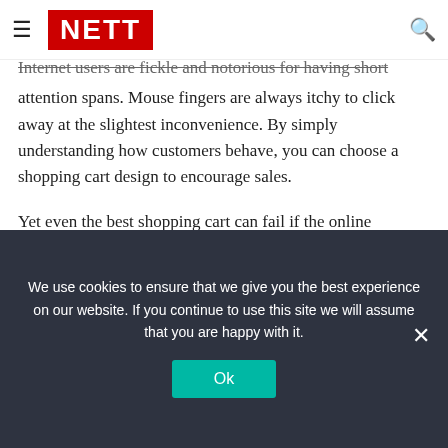≡ NETT 🔍
Internet users are fickle and notorious for having short attention spans. Mouse fingers are always itchy to click away at the slightest inconvenience. By simply understanding how customers behave, you can choose a shopping cart design to encourage sales.
Yet even the best shopping cart can fail if the online payment service doesn't encourage users to click the button. Credit card fraud is still a major concern for the majority of online shoppers. Consequently, it's vital to provide a safe transaction if you want to convert as many customers as possible.
We use cookies to ensure that we give you the best experience on our website. If you continue to use this site we will assume that you are happy with it.